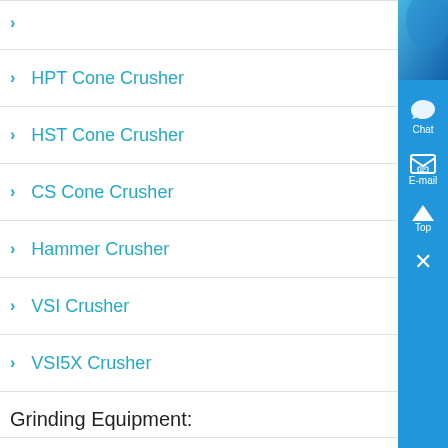HPT Cone Crusher
HST Cone Crusher
CS Cone Crusher
Hammer Crusher
VSI Crusher
VSI5X Crusher
Grinding Equipment:
Raymond Mill
Ball Mill
LM Vertical Grinding Mills
LUM Ultrafine Vertical Roller Mill